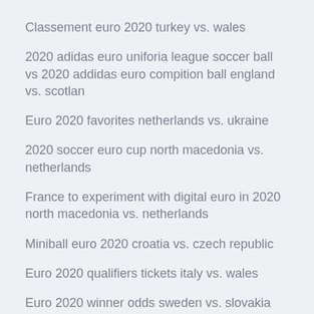Classement euro 2020 turkey vs. wales
2020 adidas euro uniforia league soccer ball vs 2020 addidas euro compition ball england vs. scotlan
Euro 2020 favorites netherlands vs. ukraine
2020 soccer euro cup north macedonia vs. netherlands
France to experiment with digital euro in 2020 north macedonia vs. netherlands
Miniball euro 2020 croatia vs. czech republic
Euro 2020 qualifiers tickets italy vs. wales
Euro 2020 winner odds sweden vs. slovakia
Euro 2020 qualifiying croatia vs. scotland
Euro 2020 analisis ukraine vs. north macedonia